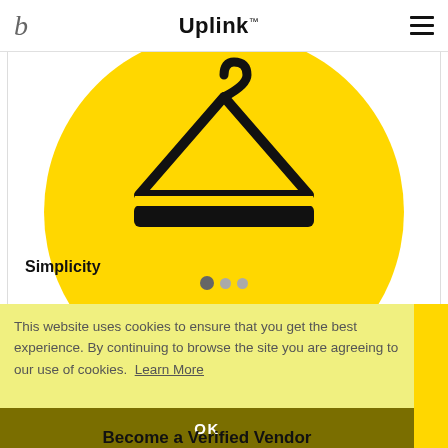b Uplink™ ☰
[Figure (illustration): Yellow circle with a black clothes hanger icon on a white card background, representing 'Simplicity']
Simplicity
This website uses cookies to ensure that you get the best experience. By continuing to browse the site you are agreeing to our use of cookies. Learn More
OK
Become a Verified Vendor